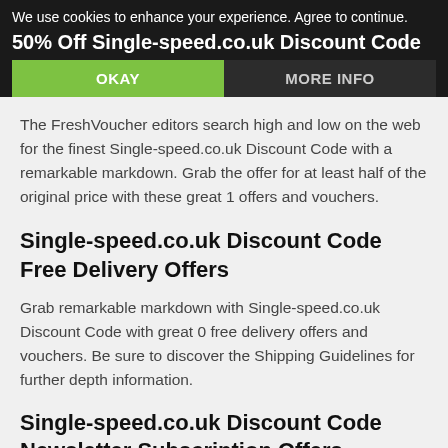We use cookies to enhance your experience. Agree to continue.
50% Off Single-speed.co.uk Discount Code
OKAY
MORE INFO
The FreshVoucher editors search high and low on the web for the finest Single-speed.co.uk Discount Code with a remarkable markdown. Grab the offer for at least half of the original price with these great 1 offers and vouchers.
Single-speed.co.uk Discount Code Free Delivery Offers
Grab remarkable markdown with Single-speed.co.uk Discount Code with great 0 free delivery offers and vouchers. Be sure to discover the Shipping Guidelines for further depth information.
Single-speed.co.uk Discount Code Newsletter Subscription Offers
Subscribe for the exclusive Single-speed.co.uk Discount Code